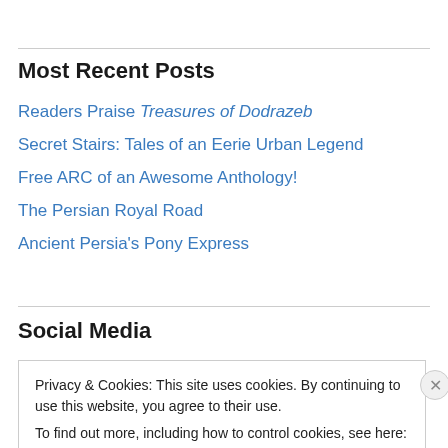Most Recent Posts
Readers Praise Treasures of Dodrazeb
Secret Stairs: Tales of an Eerie Urban Legend
Free ARC of an Awesome Anthology!
The Persian Royal Road
Ancient Persia's Pony Express
Social Media
Privacy & Cookies: This site uses cookies. By continuing to use this website, you agree to their use.
To find out more, including how to control cookies, see here: Cookie Policy
Close and accept